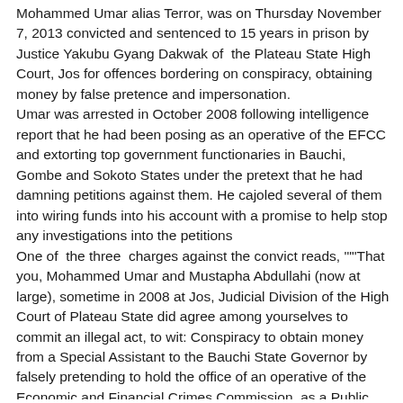Mohammed Umar alias Terror, was on Thursday November 7, 2013 convicted and sentenced to 15 years in prison by Justice Yakubu Gyang Dakwak of the Plateau State High Court, Jos for offences bordering on conspiracy, obtaining money by false pretence and impersonation. Umar was arrested in October 2008 following intelligence report that he had been posing as an operative of the EFCC and extorting top government functionaries in Bauchi, Gombe and Sokoto States under the pretext that he had damning petitions against them. He cajoled several of them into wiring funds into his account with a promise to help stop any investigations into the petitions One of the three charges against the convict reads, ""That you, Mohammed Umar and Mustapha Abdullahi (now at large), sometime in 2008 at Jos, Judicial Division of the High Court of Plateau State did agree among yourselves to commit an illegal act, to wit: Conspiracy to obtain money from a Special Assistant to the Bauchi State Governor by falsely pretending to hold the office of an operative of the Economic and Financial Crimes Commission, as a Public Servant and in such assumed